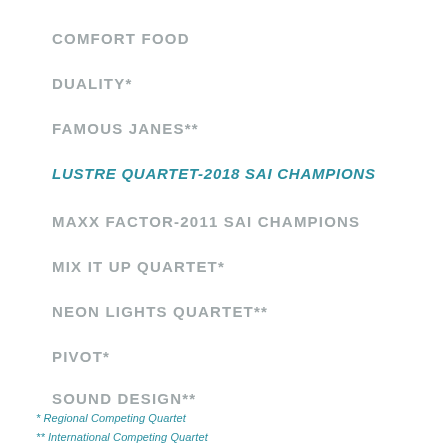COMFORT FOOD
DUALITY*
FAMOUS JANES**
LUSTRE QUARTET-2018 SAI CHAMPIONS
MAXX FACTOR-2011 SAI CHAMPIONS
MIX IT UP QUARTET*
NEON LIGHTS QUARTET**
PIVOT*
SOUND DESIGN**
* Regional Competing Quartet
** International Competing Quartet